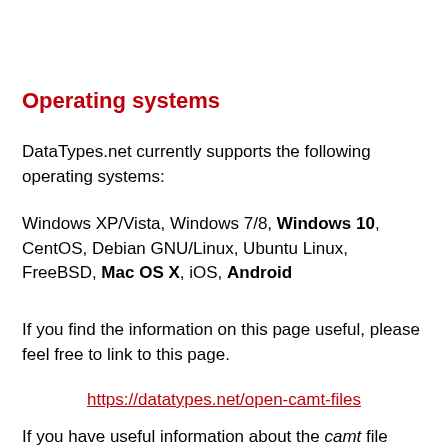Operating systems
DataTypes.net currently supports the following operating systems:
Windows XP/Vista, Windows 7/8, Windows 10, CentOS, Debian GNU/Linux, Ubuntu Linux, FreeBSD, Mac OS X, iOS, Android
If you find the information on this page useful, please feel free to link to this page.
https://datatypes.net/open-camt-files
If you have useful information about the camt file format